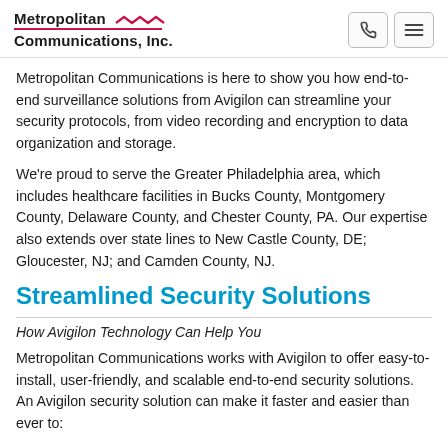Metropolitan Communications, Inc.
Metropolitan Communications is here to show you how end-to-end surveillance solutions from Avigilon can streamline your security protocols, from video recording and encryption to data organization and storage.
We're proud to serve the Greater Philadelphia area, which includes healthcare facilities in Bucks County, Montgomery County, Delaware County, and Chester County, PA. Our expertise also extends over state lines to New Castle County, DE; Gloucester, NJ; and Camden County, NJ.
Streamlined Security Solutions
How Avigilon Technology Can Help You
Metropolitan Communications works with Avigilon to offer easy-to-install, user-friendly, and scalable end-to-end security solutions. An Avigilon security solution can make it faster and easier than ever to: